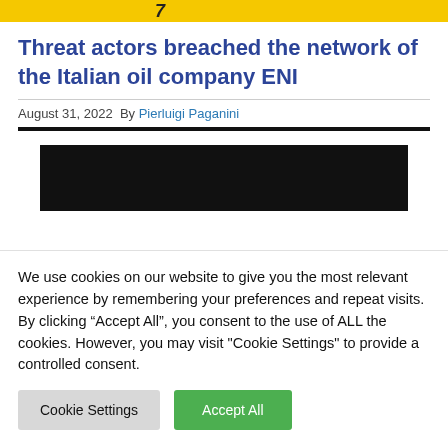[Figure (logo): Yellow banner strip with bold italic number/logo at left]
Threat actors breached the network of the Italian oil company ENI
August 31, 2022  By Pierluigi Paganini
[Figure (photo): Black redacted/blacked-out image block]
We use cookies on our website to give you the most relevant experience by remembering your preferences and repeat visits. By clicking “Accept All”, you consent to the use of ALL the cookies. However, you may visit "Cookie Settings" to provide a controlled consent.